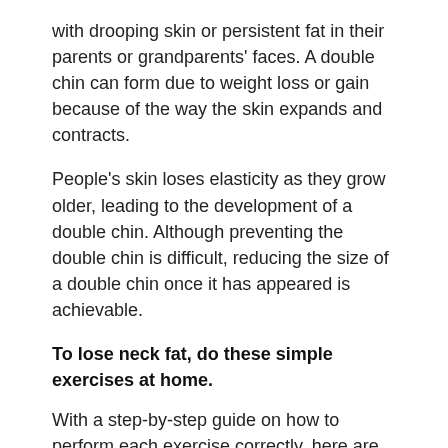with drooping skin or persistent fat in their parents or grandparents' faces. A double chin can form due to weight loss or gain because of the way the skin expands and contracts.
People's skin loses elasticity as they grow older, leading to the development of a double chin. Although preventing the double chin is difficult, reducing the size of a double chin once it has appeared is achievable.
To lose neck fat, do these simple exercises at home.
With a step-by-step guide on how to perform each exercise correctly, here are the five best practices to reduce neck fat quickly.
Also Read- Ayurvedic Treatment of Hair Loss & Re-Growth